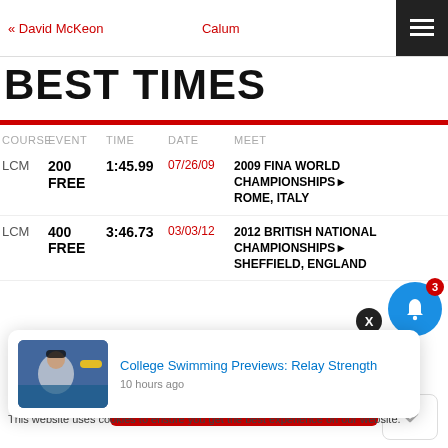« David McKeon   Calum
BEST TIMES
| COURSE | EVENT | TIME | DATE | MEET |
| --- | --- | --- | --- | --- |
| LCM | 200 FREE | 1:45.99 | 07/26/09 | 2009 FINA WORLD CHAMPIONSHIPS► ROME, ITALY |
| LCM | 400 FREE | 3:46.73 | 03/03/12 | 2012 BRITISH NATIONAL CHAMPIONSHIPS► SHEFFIELD, ENGLAND |
[Figure (photo): College swimmer photo thumbnail in notification popup]
College Swimming Previews: Relay Strength
10 hours ago
Got it
This website uses cookies to ensure you get the best experience on our website.